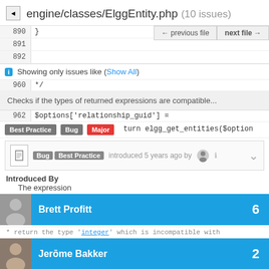engine/classes/ElggEntity.php (10 issues)
890  }
891
892
960  */
← previous file   next file →
Showing only issues like (Show All)
Checks if the types of returned expressions are compatible...
962   $options['relationship_guid'] =
Best Practice  Bug  Major  turn elgg_get_entities($option
Bug  Best Practice  introduced 5 years ago by
Introduced By
The expression
Brett Profitt  6
return the type 'integer' which is incompatible with
Jerōme Bakker  2
Ismayil Khayredinov  1
Ismayil Khayredinov  1